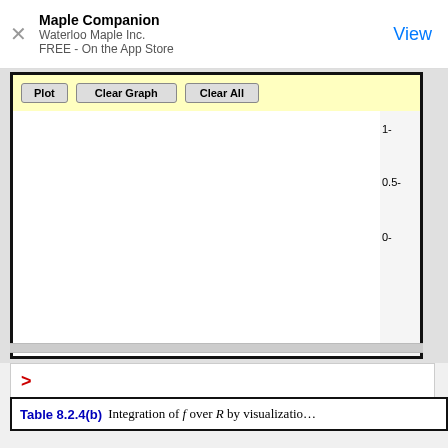Maple Companion
Waterloo Maple Inc.
FREE - On the App Store
[Figure (screenshot): Maple software interface showing a graph plotting area with Plot, Clear Graph, and Clear All buttons in a yellow toolbar. The graph area is blank white. Y-axis shows values 1, 0.5, 0 on the right side. A red > prompt appears below the graph area.]
Table 8.2.4(b)  Integration of f over R by visualization
Table 8.2.4(c) completes the solution from first principles
| Copy and paste the value of ∫∫∫ f dy | ( 81 |
| --- | --- |